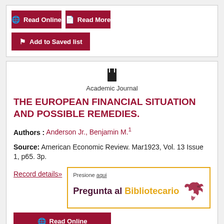[Figure (screenshot): Read Online button (dark red)]
[Figure (screenshot): Read More button (dark red)]
[Figure (screenshot): Add to Saved list button (dark red)]
Academic Journal
THE EUROPEAN FINANCIAL SITUATION AND POSSIBLE REMEDIES.
Authors : Anderson Jr., Benjamin M.1
Source: American Economic Review. Mar1923, Vol. 13 Issue 1, p65. 3p.
Record details»
[Figure (infographic): Pregunta al Bibliotecario promotional box with bird logo. Text: Presione aqui / Pregunta al Bibliotecario]
[Figure (screenshot): Read Online button (dark red) at bottom]